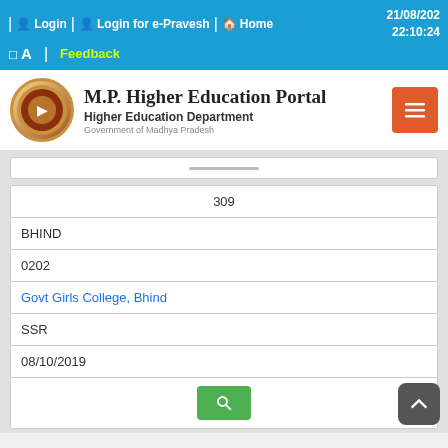Login | Login for e-Pravesh | Home  21/08/2021 22:10:24  A  Feedback
[Figure (logo): M.P. Higher Education Portal logo with circular emblem of Madhya Pradesh government]
M.P. Higher Education Portal
Higher Education Department
Government of Madhya Pradesh
| 309 |
| BHIND |
| 0202 |
| Govt Girls College, Bhind |
| SSR |
| 08/10/2019 |
| 310 |
| ASHOKNAGAR |
| 0603 |